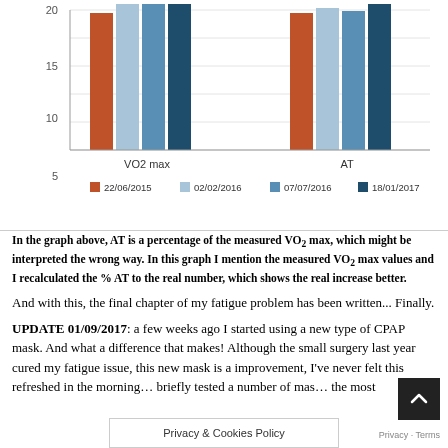[Figure (grouped-bar-chart): VO2 max and AT measurements over time]
In the graph above, AT is a percentage of the measured VO2 max, which might be interpreted the wrong way. In this graph I mention the measured VO2 max values and I recalculated the % AT to the real number, which shows the real increase better.
And with this, the final chapter of my fatigue problem has been written... Finally.
UPDATE 01/09/2017: a few weeks ago I started using a new type of CPAP mask. And what a difference that makes! Although the small surgery last year cured my fatigue issue, this new mask is a improvement, I've never felt this refreshed in the morning... briefly tested a number of mas... the most